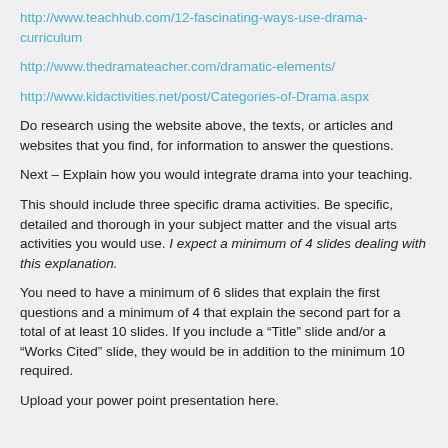http://www.teachhub.com/12-fascinating-ways-use-drama-curriculum
http://www.thedramateacher.com/dramatic-elements/
http://www.kidactivities.net/post/Categories-of-Drama.aspx
Do research using the website above, the texts, or articles and websites that you find, for information to answer the questions.
Next – Explain how you would integrate drama into your teaching.
This should include three specific drama activities. Be specific, detailed and thorough in your subject matter and the visual arts activities you would use. I expect a minimum of 4 slides dealing with this explanation.
You need to have a minimum of 6 slides that explain the first questions and a minimum of 4 that explain the second part for a total of at least 10 slides. If you include a “Title” slide and/or a “Works Cited” slide, they would be in addition to the minimum 10 required.
Upload your power point presentation here.